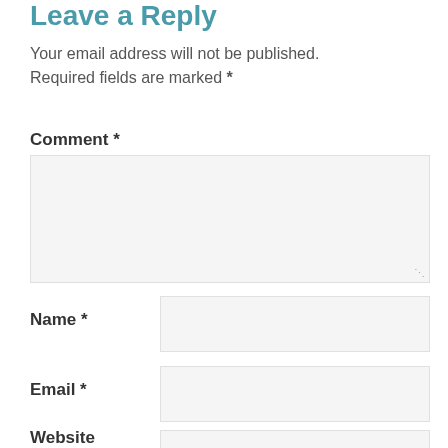Leave a Reply
Your email address will not be published. Required fields are marked *
Comment *
[Figure (other): Comment text area input box with resize handle]
Name *
[Figure (other): Name input field]
Email *
[Figure (other): Email input field]
Website
[Figure (other): Website input field (partially visible)]